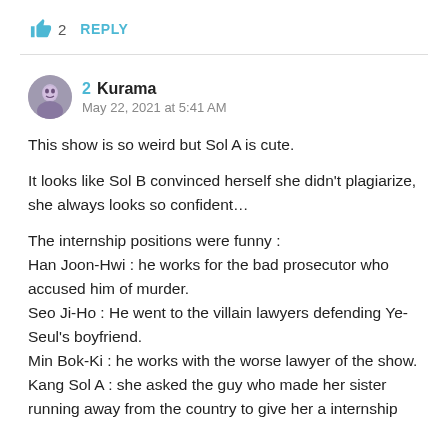[Figure (infographic): Thumbs up like icon in blue with count '2' and 'REPLY' button]
👍 2   REPLY
2  Kurama
May 22, 2021 at 5:41 AM
This show is so weird but Sol A is cute.

It looks like Sol B convinced herself she didn't plagiarize, she always looks so confident…

The internship positions were funny :
Han Joon-Hwi : he works for the bad prosecutor who accused him of murder.
Seo Ji-Ho : He went to the villain lawyers defending Ye-Seul's boyfriend.
Min Bok-Ki : he works with the worse lawyer of the show.
Kang Sol A : she asked the guy who made her sister running away from the country to give her a internship